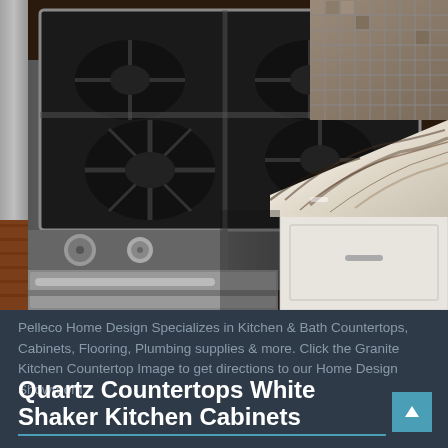[Figure (photo): Kitchen photo showing a stainless steel gas range/cooktop with knobs, an open drawer below, dark hardwood flooring, white shaker cabinets, and a granite/quartz countertop with dark veining pattern on a white/cream background. Mosaic tile backsplash visible in upper right corner.]
Pelleco Home Design Specializes in Kitchen & Bath Countertops, Cabinets, Flooring, Plumbing supplies & more. Click the Granite Kitchen Countertop Image to get directions to our Home Design Showroom
Quartz Countertops White Shaker Kitchen Cabinets